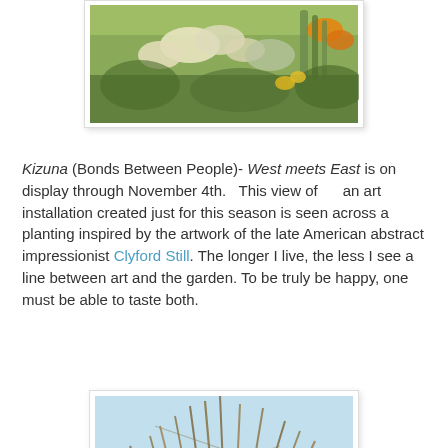[Figure (photo): Garden scene with white and yellow flowers and green foliage, partially visible at top of page]
Kizuna (Bonds Between People)- West meets East is on display through November 4th.   This view of      an art installation created just for this season is seen across a planting inspired by the artwork of the late American abstract impressionist Clyford Still. The longer I live, the less I see a line between art and the garden. To be truly be happy, one must be able to taste both.
[Figure (photo): Close-up photo of dried straw or reed sculpture against a light blue sky background]